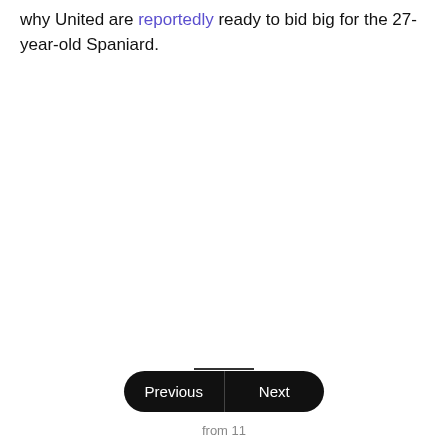why United are reportedly ready to bid big for the 27-year-old Spaniard.
ST: Demba Ba
from 11